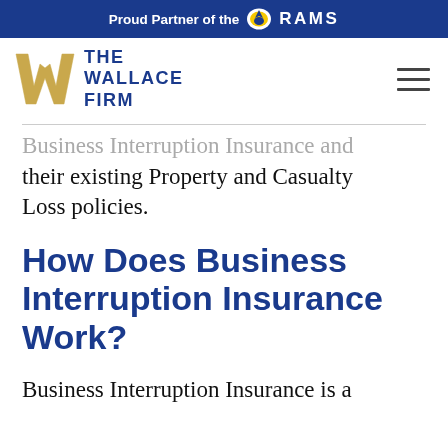Proud Partner of the RAMS
[Figure (logo): The Wallace Firm logo with golden W icon and dark blue text, plus hamburger menu icon]
Business Interruption Insurance and their existing Property and Casualty Loss policies.
How Does Business Interruption Insurance Work?
Business Interruption Insurance is a